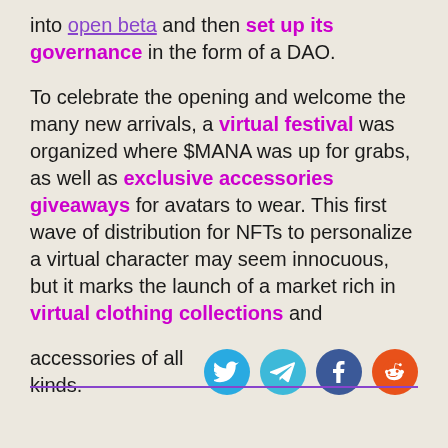into open beta and then set up its governance in the form of a DAO.
To celebrate the opening and welcome the many new arrivals, a virtual festival was organized where $MANA was up for grabs, as well as exclusive accessories giveaways for avatars to wear. This first wave of distribution for NFTs to personalize a virtual character may seem innocuous, but it marks the launch of a market rich in virtual clothing collections and accessories of all kinds.